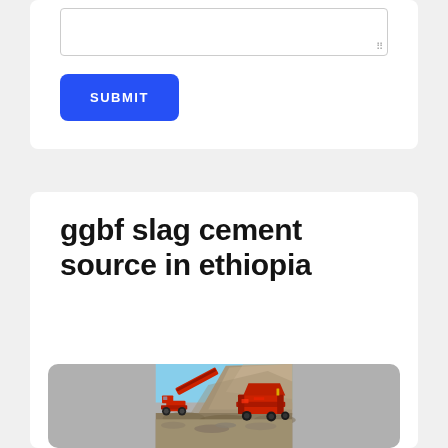[Figure (screenshot): A text area input box with resize handle at bottom right, partially visible at top of form card]
SUBMIT
ggbf slag cement source in ethiopia
[Figure (photo): Photograph of red industrial crushing/screening machinery operating at a large gravel or slag quarry site with a hill of crushed rock material in the background under a blue sky]